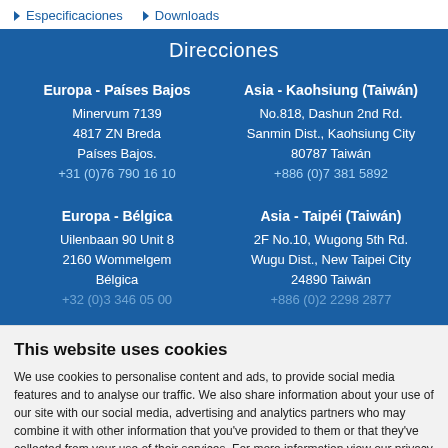▶ Especificaciones  ▶ Downloads
Direcciones
Europa - Países Bajos
Minervum 7139
4817 ZN Breda
Países Bajos.
+31 (0)76 790 16 10
Asia - Kaohsiung (Taiwán)
No.818, Dashun 2nd Rd.
Sanmin Dist., Kaohsiung City
80787 Taiwán
+886 (0)7 381 5892
Europa - Bélgica
Uilenbaan 90 Unit 8
2160 Wommelgem
Bélgica
+32 (0)3 346 05 00
Asia - Taipéi (Taiwán)
2F No.10, Wugong 5th Rd.
Wugu Dist., New Taipei City
24890 Taiwán
+886 (0)2 2298 2877
This website uses cookies
We use cookies to personalise content and ads, to provide social media features and to analyse our traffic. We also share information about your use of our site with our social media, advertising and analytics partners who may combine it with other information that you've provided to them or that they've collected from your use of their services. For more information view our privacy policy page.
OK
Show details ∨